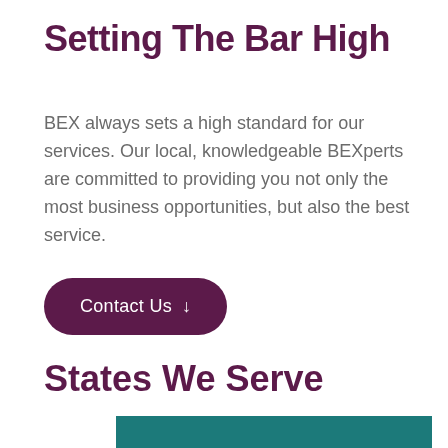Setting The Bar High
BEX always sets a high standard for our services. Our local, knowledgeable BEXperts are committed to providing you not only the most business opportunities, but also the best service.
[Figure (other): Dark purple pill-shaped button with text 'Contact Us' and a downward arrow icon]
States We Serve
[Figure (map): Partial view of a teal/dark green map showing states served]